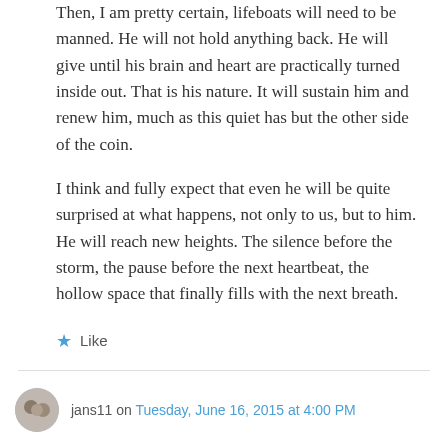Then, I am pretty certain, lifeboats will need to be manned. He will not hold anything back. He will give until his brain and heart are practically turned inside out. That is his nature. It will sustain him and renew him, much as this quiet has but the other side of the coin.
I think and fully expect that even he will be quite surprised at what happens, not only to us, but to him. He will reach new heights. The silence before the storm, the pause before the next heartbeat, the hollow space that finally fills with the next breath.
★ Like
jans11 on Tuesday, June 16, 2015 at 4:00 PM